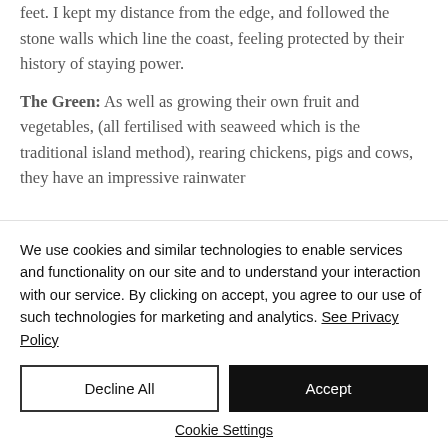feet. I kept my distance from the edge, and followed the stone walls which line the coast, feeling protected by their history of staying power.
The Green: As well as growing their own fruit and vegetables, (all fertilised with seaweed which is the traditional island method), rearing chickens, pigs and cows, they have an impressive rainwater
We use cookies and similar technologies to enable services and functionality on our site and to understand your interaction with our service. By clicking on accept, you agree to our use of such technologies for marketing and analytics. See Privacy Policy